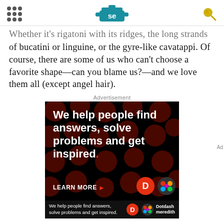Serious Eats (SE logo)
Whether it's rigatoni with its ridges, the long strands of bucatini or linguine, or the gyre-like cavatappi. Of course, there are some of us who can't choose a favorite shape—can you blame us?—and we love them all (except angel hair).
Advertisement
[Figure (illustration): Advertisement banner with dark background and dark red polka dots pattern. Text reads: 'We help people find answers, solve problems and get inspired.' with a LEARN MORE button and Dotdash Meredith logos.]
We help people find answers, solve problems and get inspired.